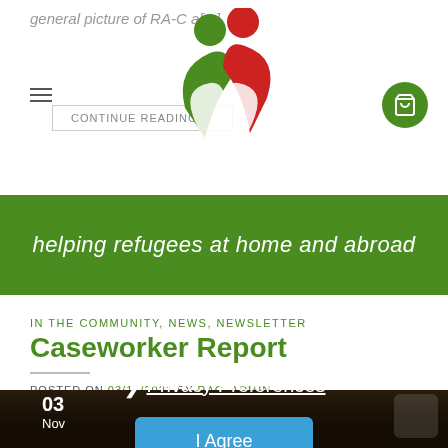general picture of RA-C a[...]
[Figure (logo): Organization logo: two human figures (green and red) forming a heart shape]
CONTINUE READING →
[Figure (other): Shopping cart icon in green circle]
helping refugees at home and abroad
IN THE COMMUNITY, NEWS, NEWSLETTER
Caseworker Report
POSTED ON 03/11/2021 BY RAC_ADMIN
[Figure (photo): Dark background photo with date badge showing 03 Nov and a privacy preferences modal overlay with I Agree button]